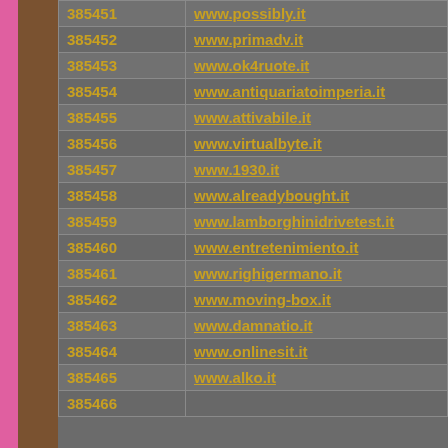| ID | URL |
| --- | --- |
| 385451 | www.possibly.it |
| 385452 | www.primadv.it |
| 385453 | www.ok4ruote.it |
| 385454 | www.antiquariatoimperia.it |
| 385455 | www.attivabile.it |
| 385456 | www.virtualbyte.it |
| 385457 | www.1930.it |
| 385458 | www.alreadybought.it |
| 385459 | www.lamborghinidrivetest.it |
| 385460 | www.entretenimiento.it |
| 385461 | www.righigermano.it |
| 385462 | www.moving-box.it |
| 385463 | www.damnatio.it |
| 385464 | www.onlinesit.it |
| 385465 | www.alko.it |
| 385466 | ... |